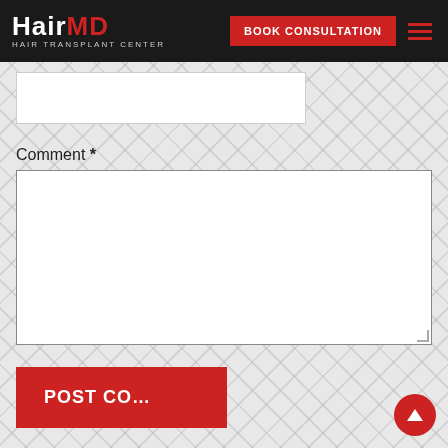[Figure (logo): HairMD Hair Transplant Center logo — white text with red MD, on black background]
BOOK CONSULTATION
Comment *
[Figure (screenshot): Empty comment textarea input field]
POST CO...